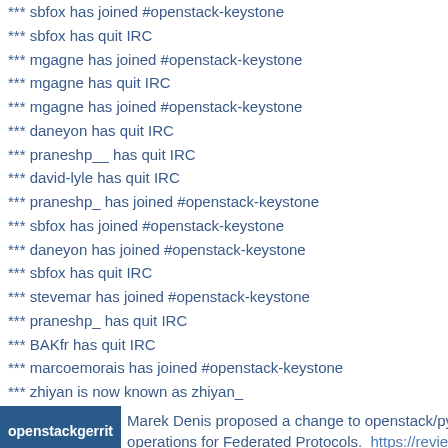*** sbfox has joined #openstack-keystone
*** sbfox has quit IRC
*** mgagne has joined #openstack-keystone
*** mgagne has quit IRC
*** mgagne has joined #openstack-keystone
*** daneyon has quit IRC
*** praneshp__ has quit IRC
*** david-lyle has quit IRC
*** praneshp_ has joined #openstack-keystone
*** sbfox has joined #openstack-keystone
*** daneyon has joined #openstack-keystone
*** sbfox has quit IRC
*** stevemar has joined #openstack-keystone
*** praneshp_ has quit IRC
*** BAKfr has quit IRC
*** marcoemorais has joined #openstack-keystone
*** zhiyan is now known as zhiyan_
openstackgerrit  Marek Denis proposed a change to openstack/pyth operations for Federated Protocols.  https://review.
*** daneyon has quit IRC
*** stevemar has quit IRC
*** diegows has quit IRC
*** marcoemorais has quit IRC